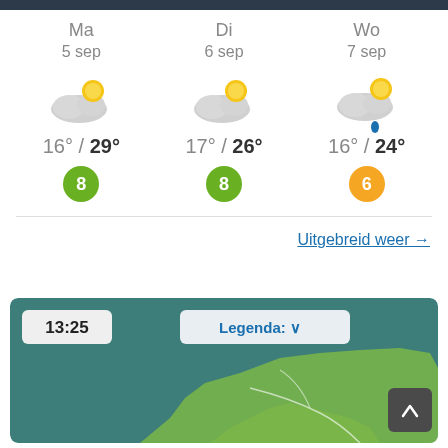Ma 5 sep | Di 6 sep | Wo 7 sep
[Figure (infographic): Three-day weather forecast showing partly cloudy icons, temperature ranges, and UV index badges for Ma 5 sep (16/29, UV 8), Di 6 sep (17/26, UV 8), Wo 7 sep (16/24, UV 6 with rain drop)]
Uitgebreid weer →
[Figure (map): Weather radar/map of the Netherlands at 13:25, with Legenda dropdown button and scroll-to-top button]